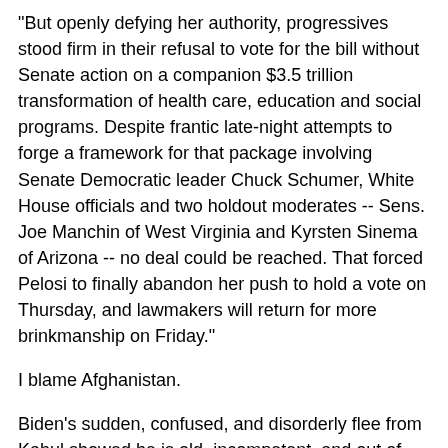"But openly defying her authority, progressives stood firm in their refusal to vote for the bill without Senate action on a companion $3.5 trillion transformation of health care, education and social programs. Despite frantic late-night attempts to forge a framework for that package involving Senate Democratic leader Chuck Schumer, White House officials and two holdout moderates -- Sens. Joe Manchin of West Virginia and Kyrsten Sinema of Arizona -- no deal could be reached. That forced Pelosi to finally abandon her push to hold a vote on Thursday, and lawmakers will return for more brinkmanship on Friday."
I blame Afghanistan.
Biden's sudden, confused, and disorderly flee from Kabul showed he is old, incompetent, and out of touch.
Worse, for a president, it showed he is vulnerable. We have over the centuries given presidents great power which allows them to push congressmen around. Obama succeeded in limiting President Trump's ability to wield that power. Biden has only himself to blame.